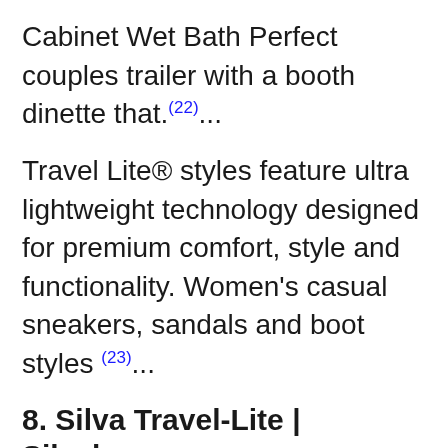Cabinet Wet Bath Perfect couples trailer with a booth dinette that.(22)...
Travel Lite® styles feature ultra lightweight technology designed for premium comfort, style and functionality. Women's casual sneakers, sandals and boot styles (23)...
8. Silva Travel-Lite | Silvalea.com
Silva Travel-Lite · Both a manual and hoistable sling in one · Hoist tapes can be tucked neatly away when used as a manual sling.(24)